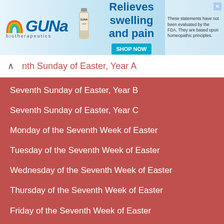[Figure (other): GUNA biotherapeutics advertisement banner with logo, product bottle, 'Relieves swelling and pain' text, SHOP NOW button, and FDA disclaimer]
nth Sunday of Easter, Year A
Seventh Sunday of Easter, Year B
Seventh Sunday of Easter, Year C
Monday of the Seventh Week of Easter
Tuesday of the Seventh Week of Easter
Wednesday of the Seventh Week of Easter
Thursday of the Seventh Week of Easter
Friday of the Seventh Week of Easter
Saturday of the Seventh Week of Easter - Mass in the Morning